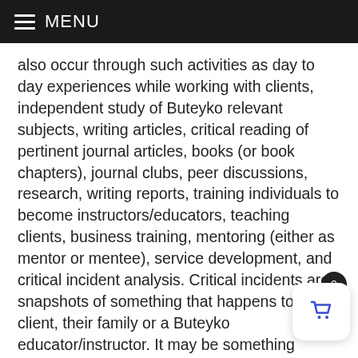MENU
also occur through such activities as day to day experiences while working with clients, independent study of Buteyko relevant subjects, writing articles, critical reading of pertinent journal articles, books (or book chapters), journal clubs, peer discussions, research, writing reports, training individuals to become instructors/educators, teaching clients, business training, mentoring (either as mentor or mentee), service development, and critical incident analysis. Critical incidents are snapshots of something that happens to a client, their family or a Buteyko educator/instructor. It may be something positive, or it could be a situation where someone has suffered in some way. Reflection and analysis of critical incidents can be a valuable learning tool for Buteyko instructors/educators. The practice requires exploring your actions and feelings. It provides Buteyko instructors/educators with an